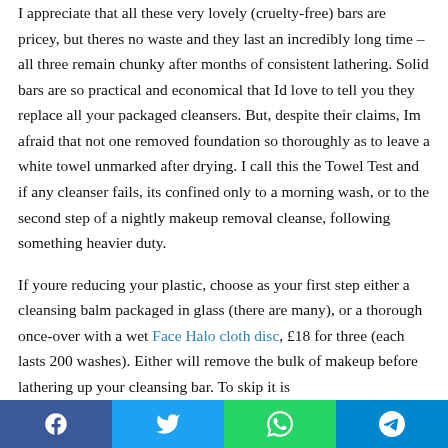I appreciate that all these very lovely (cruelty-free) bars are pricey, but theres no waste and they last an incredibly long time – all three remain chunky after months of consistent lathering. Solid bars are so practical and economical that Id love to tell you they replace all your packaged cleansers. But, despite their claims, Im afraid that not one removed foundation so thoroughly as to leave a white towel unmarked after drying. I call this the Towel Test and if any cleanser fails, its confined only to a morning wash, or to the second step of a nightly makeup removal cleanse, following something heavier duty.
If youre reducing your plastic, choose as your first step either a cleansing balm packaged in glass (there are many), or a thorough once-over with a wet Face Halo cloth disc, £18 for three (each lasts 200 washes). Either will remove the bulk of makeup before lathering up your cleansing bar. To skip it is
[Figure (infographic): Social share bar with Facebook, Twitter, WhatsApp, and Telegram icons]